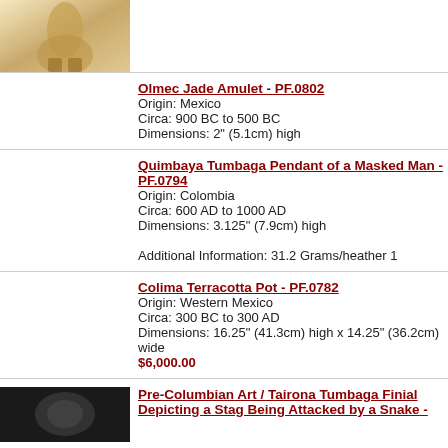[Figure (photo): Partial photo of artifact - tan/beige colored object on light background]
Olmec Jade Amulet - PF.0802
Origin: Mexico
Circa: 900 BC to 500 BC
Dimensions: 2" (5.1cm) high
Quimbaya Tumbaga Pendant of a Masked Man - PF.0794
Origin: Colombia
Circa: 600 AD to 1000 AD
Dimensions: 3.125" (7.9cm) high

Additional Information: 31.2 Grams/heather 1
Colima Terracotta Pot - PF.0782
Origin: Western Mexico
Circa: 300 BC to 300 AD
Dimensions: 16.25" (41.3cm) high x 14.25" (36.2cm) wide
$6,000.00
[Figure (photo): Dark/black background photo of Pre-Columbian artifact]
Pre-Columbian Art / Tairona Tumbaga Finial Depicting a Stag Being Attacked by a Snake -